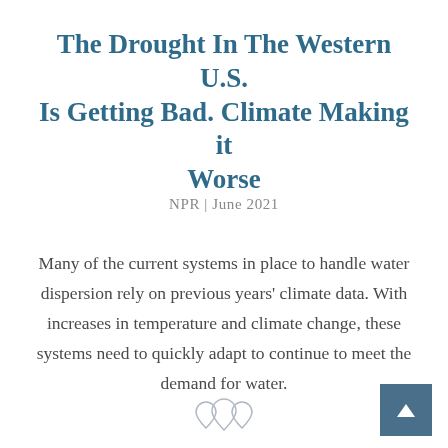The Drought In The Western U.S. Is Getting Bad. Climate Making it Worse
NPR | June 2021
Many of the current systems in place to handle water dispersion rely on previous years' climate data. With increases in temperature and climate change, these systems need to quickly adapt to continue to meet the demand for water.
[Figure (illustration): Small decorative water drop / leaf icons in outline style at the bottom center of the page]